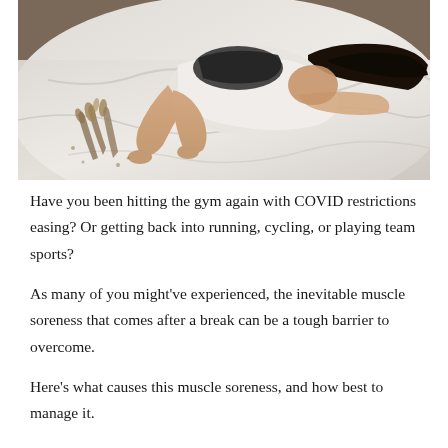[Figure (photo): Woman lying face-down on a white bed, wearing a white shirt and dark shorts, with dark hair spread out. A bundle of dried flowers/wheat is visible near the left side of the bed.]
Have you been hitting the gym again with COVID restrictions easing? Or getting back into running, cycling, or playing team sports?
As many of you might've experienced, the inevitable muscle soreness that comes after a break can be a tough barrier to overcome.
Here's what causes this muscle soreness, and how best to manage it.